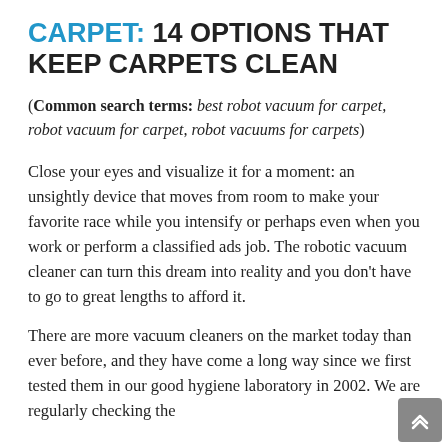CARPET: 14 OPTIONS THAT KEEP CARPETS CLEAN
(Common search terms: best robot vacuum for carpet, robot vacuum for carpet, robot vacuums for carpets)
Close your eyes and visualize it for a moment: an unsightly device that moves from room to make your favorite race while you intensify or perhaps even when you work or perform a classified ads job. The robotic vacuum cleaner can turn this dream into reality and you don't have to go to great lengths to afford it.
There are more vacuum cleaners on the market today than ever before, and they have come a long way since we first tested them in our good hygiene laboratory in 2002. We are regularly checking the